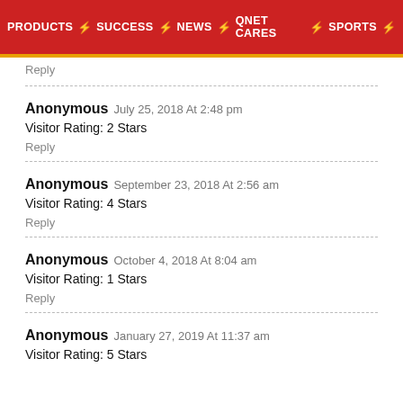PRODUCTS ⚡ SUCCESS ⚡ NEWS ⚡ QNET CARES ⚡ SPORTS ⚡
Reply
Anonymous July 25, 2018 At 2:48 pm
Visitor Rating: 2 Stars
Reply
Anonymous September 23, 2018 At 2:56 am
Visitor Rating: 4 Stars
Reply
Anonymous October 4, 2018 At 8:04 am
Visitor Rating: 1 Stars
Reply
Anonymous January 27, 2019 At 11:37 am
Visitor Rating: 5 Stars